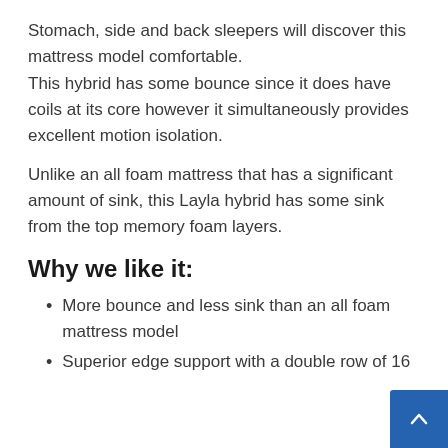Stomach, side and back sleepers will discover this mattress model comfortable. This hybrid has some bounce since it does have coils at its core however it simultaneously provides excellent motion isolation.
Unlike an all foam mattress that has a significant amount of sink, this Layla hybrid has some sink from the top memory foam layers.
Why we like it:
More bounce and less sink than an all foam mattress model
Superior edge support with a double row of 16